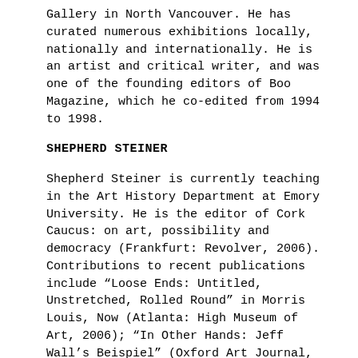Gallery in North Vancouver. He has curated numerous exhibitions locally, nationally and internationally. He is an artist and critical writer, and was one of the founding editors of Boo Magazine, which he co-edited from 1994 to 1998.
SHEPHERD STEINER
Shepherd Steiner is currently teaching in the Art History Department at Emory University. He is the editor of Cork Caucus: on art, possibility and democracy (Frankfurt: Revolver, 2006). Contributions to recent publications include “Loose Ends: Untitled, Unstretched, Rolled Round” in Morris Louis, Now (Atlanta: High Museum of Art, 2006); “In Other Hands: Jeff Wall’s Beispiel” (Oxford Art Journal, vol. 32, no. 2); “of painting and its abuses” in Jörg Immendorff (Los Angeles: Patrick Painter, 2006); and “v.s. a beginning of sorts” (Intertidal, Antwerp: MuKHA, 2006).